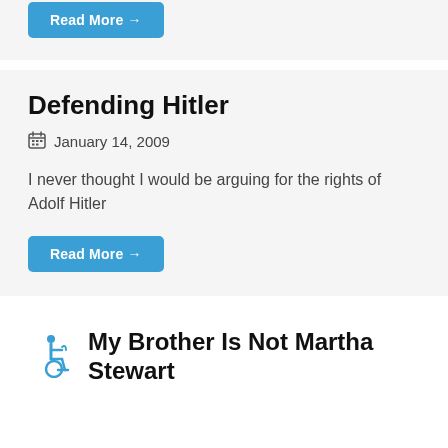Read More →
Defending Hitler
January 14, 2009
I never thought I would be arguing for the rights of Adolf Hitler
Read More →
My Brother Is Not Martha Stewart